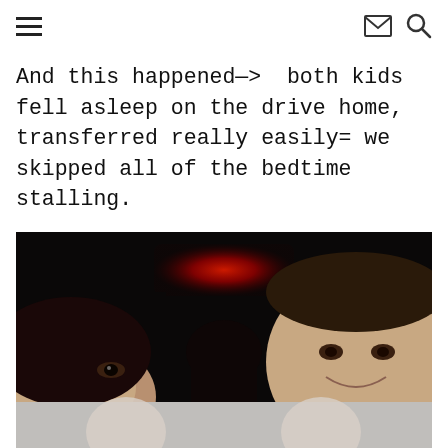≡  ✉ 🔍
And this happened—>  both kids fell asleep on the drive home, transferred really easily= we skipped all of the bedtime stalling.
[Figure (photo): A dark car interior photo showing a woman on the left (partially visible, looking sideways), a man on the right smiling at the camera, and a child sleeping in the back seat. There is a red illuminated overhead light in the center of the car's interior. Below is the top of a second photo showing hands giving thumbs up.]